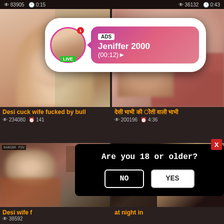83905  0:15    36132  0:43
[Figure (screenshot): Blurred adult video thumbnail - Desi cuck wife fucked by bull]
[Figure (screenshot): Blurred adult video thumbnail - Hindi text title]
Desi cuck wife fucked by bull
234080  141
200196  4:36
[Figure (screenshot): Blurred adult video thumbnail with POV label - Desi wife]
[Figure (screenshot): Blurred adult video thumbnail - dark scene]
[Figure (infographic): Ad popup: profile photo with LIVE badge, ADS label, name Jeniffer 2000, timer (00:12)]
[Figure (infographic): Age verification modal: Are you 18 or older? with NO and YES buttons, X close button]
Desi wife f
38592
at night in